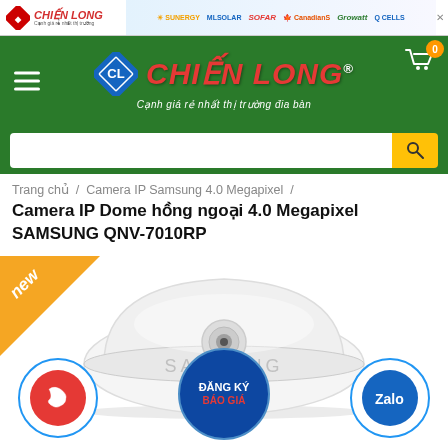[Figure (screenshot): Advertisement banner with Chiến Long logo on left and solar/energy brand logos on right (SUNERGY, MLSOLAR, SOFAR, CanadianS, Growatt, Q CELLS)]
[Figure (logo): Chiến Long website header with green background, diamond CL logo, red italic CHIẾN LONG brand name with registered mark, tagline in white, hamburger menu on left, shopping cart with 0 badge on right]
[Figure (screenshot): Green search bar with white input field and yellow search button with magnifying glass icon]
Trang chủ / Camera IP Samsung 4.0 Megapixel /
Camera IP Dome hồng ngoại 4.0 Megapixel SAMSUNG QNV-7010RP
[Figure (photo): Samsung QNV-7010RP IP Dome camera shown from above, white circular dome shape with SAMSUNG text visible, 'new' badge triangle in orange top-left corner, call button (red circle with phone icon) bottom-left, Zalo button (blue circle) bottom-right, ĐĂNG KÝ BÁO GIÁ registration button (blue circle) bottom-center]